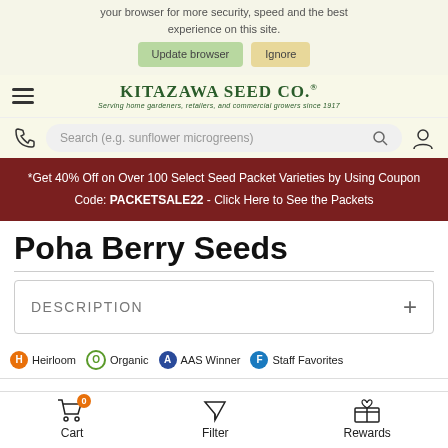your browser for more security, speed and the best experience on this site.
Update browser  Ignore
[Figure (logo): Kitazawa Seed Co. logo with tagline 'Serving home gardeners, retailers, and commercial growers since 1917']
Search (e.g. sunflower microgreens)
*Get 40% Off on Over 100 Select Seed Packet Varieties by Using Coupon Code: PACKETSALE22 - Click Here to See the Packets
Poha Berry Seeds
DESCRIPTION +
H Heirloom  O Organic  A AAS Winner  F Staff Favorites
Cart  Filter  Rewards